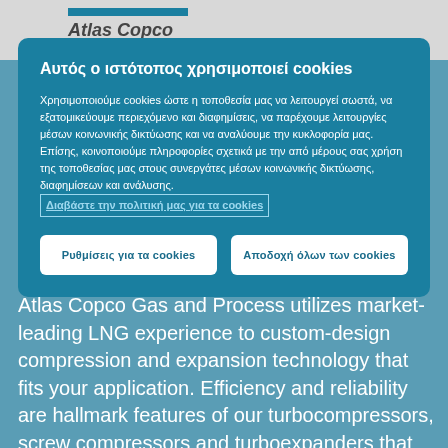[Figure (screenshot): Website header with gray background, blue accent bar above partially visible italic logo text]
Αυτός ο ιστότοπος χρησιμοποιεί cookies
Χρησιμοποιούμε cookies ώστε η τοποθεσία μας να λειτουργεί σωστά, να εξατομικεύουμε περιεχόμενο και διαφημίσεις, να παρέχουμε λειτουργίες μέσων κοινωνικής δικτύωσης και να αναλύουμε την κυκλοφορία μας. Επίσης, κοινοποιούμε πληροφορίες σχετικά με την από μέρους σας χρήση της τοποθεσίας μας στους συνεργάτες μέσων κοινωνικής δικτύωσης, διαφημίσεων και ανάλυσης. Διαβάστε την πολιτική μας για τα cookies
Ρυθμίσεις για τα cookies
Αποδοχή όλων των cookies
Atlas Copco Gas and Process utilizes market-leading LNG experience to custom-design compression and expansion technology that fits your application. Efficiency and reliability are hallmark features of our turbocompressors, screw compressors and turboexpanders that helps drive the global LNG industry.